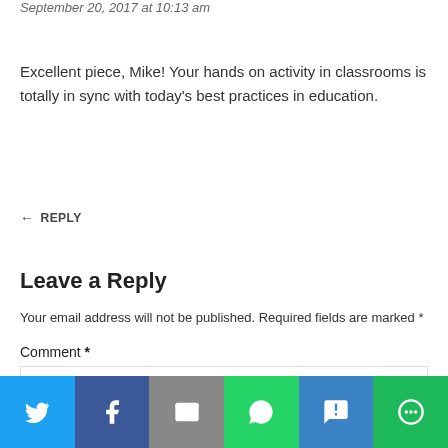September 20, 2017 at 10:13 am
Excellent piece, Mike! Your hands on activity in classrooms is totally in sync with today’s best practices in education.
← REPLY
Leave a Reply
Your email address will not be published. Required fields are marked *
Comment *
[Figure (infographic): Social sharing bar with Twitter, Facebook, Email, WhatsApp, SMS, and More buttons]